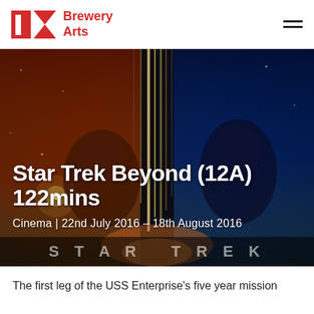Brewery Arts
[Figure (photo): Star Trek Beyond movie poster hero image with dark space background featuring colorful vertical light streaks and character faces]
Star Trek Beyond (12A) 122mins
Cinema | 22nd July 2016 – 18th August 2016
The first leg of the USS Enterprise's five year mission